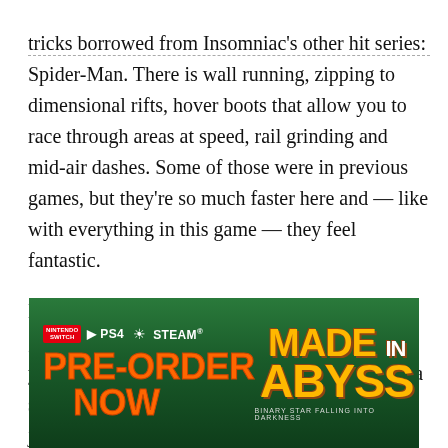tricks borrowed from Insomniac's other hit series: Spider-Man. There is wall running, zipping to dimensional rifts, hover boots that allow you to race through areas at speed, rail grinding and mid-air dashes. Some of those were in previous games, but they're so much faster here and — like with everything in this game — they feel fantastic.
Much like previous Ratchet & Clank games, the game switches gears repeatedly. One minute you're racing through the swamp on the back of a snail, then shooting down enemy ships, then jumping through a portal to complete a platforming challenge, then leaping into another to partake in a game of 3D Lemmings, then taking control of a digital spider to kill a
[Figure (other): Advertisement banner for 'Made in Abyss: Binary Star Falling into Darkness' game. Shows Nintendo Switch, PS4, and Steam platform logos. Text reads 'PRE-ORDER NOW' in orange. Title 'MADE IN ABYSS' in large orange letters. Tagline 'BINARY STAR FALLING INTO DARKNESS' at bottom.]